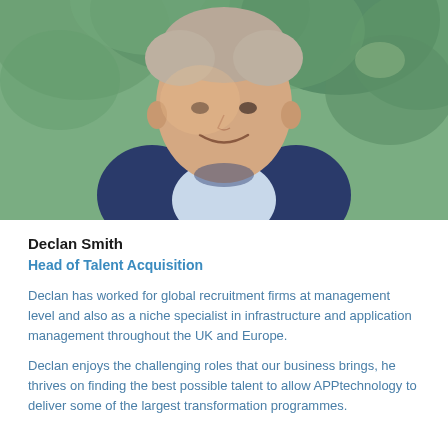[Figure (photo): Professional headshot of Declan Smith, a middle-aged man in a navy blazer and light blue shirt, smiling, with green foliage in the background]
Declan Smith
Head of Talent Acquisition
Declan has worked for global recruitment firms at management level and also as a niche specialist in infrastructure and application management throughout the UK and Europe.
Declan enjoys the challenging roles that our business brings, he thrives on finding the best possible talent to allow APPtechnology to deliver some of the largest transformation programmes.